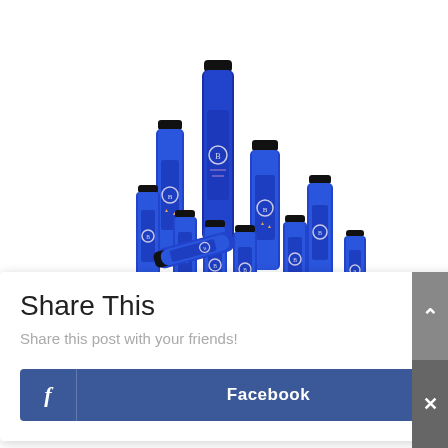[Figure (photo): Multiple small blue glass essential oil bottles with black caps and branded labels stacked in a triangular/pyramid arrangement against a white background.]
Share This
Share this post with your friends!
Facebook